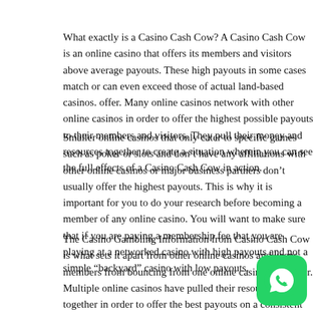What exactly is a Casino Cash Cow? A Casino Cash Cow is an online casino that offers its members and visitors above average payouts. These high payouts in some cases match or can even exceed those of actual land-based casinos. Many online casinos network with other online casinos in order to offer the highest possible payouts to their members and visitors. They pull their money and resources together to create a situation wherein you can see the full effects of a Casino Cash Cow in action.
Smaller online casinos that only cater to specific games such as poker or slots and don't have any affiliations with other online casinos or major business partners don't usually offer the highest payouts. This is why it is important for you to do your research before becoming a member of any online casino. You will want to make sure that if you are paying a membership fee that you are playing at a networked casino with high payouts and not a simple "backyard" casino wi...
The Casino Gambling Information from Casino Cash Cow is wh... and keeps members from bouncing from one online casino to an... casinos have pulled their resources together in order to offer the... basis. Working together they can pull in hundreds of thousands of dollars for simply playing on their sites.